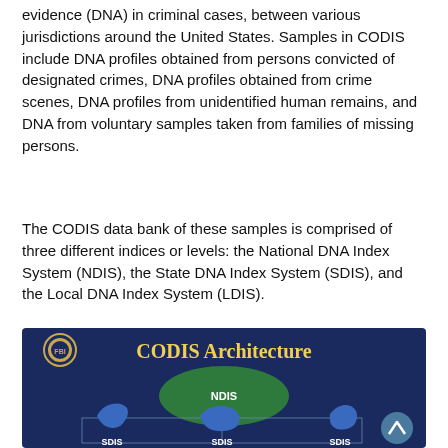evidence (DNA) in criminal cases, between various jurisdictions around the United States. Samples in CODIS include DNA profiles obtained from persons convicted of designated crimes, DNA profiles obtained from crime scenes, DNA profiles from unidentified human remains, and DNA from voluntary samples taken from families of missing persons.
The CODIS data bank of these samples is comprised of three different indices or levels: the National DNA Index System (NDIS), the State DNA Index System (SDIS), and the Local DNA Index System (LDIS).
[Figure (infographic): CODIS Architecture infographic showing a dark blue background with FBI seal in top-left, title 'CODIS Architecture' in yellow text, a green map of the United States labeled 'NDIS' in the center, and below it three blue state silhouettes each labeled 'SDIS'. A scroll-up button appears in the lower right.]